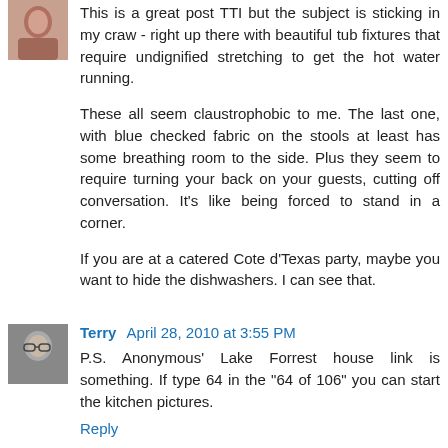[Figure (photo): Small avatar photo of a person, partially cropped, top-left of page]
This is a great post TTI but the subject is sticking in my craw - right up there with beautiful tub fixtures that require undignified stretching to get the hot water running.

These all seem claustrophobic to me. The last one, with blue checked fabric on the stools at least has some breathing room to the side. Plus they seem to require turning your back on your guests, cutting off conversation. It's like being forced to stand in a corner.

If you are at a catered Cote d'Texas party, maybe you want to hide the dishwashers. I can see that.
Reply
[Figure (photo): Small avatar photo of Terry, a person wearing glasses]
Terry  April 28, 2010 at 3:55 PM
P.S. Anonymous' Lake Forrest house link is something. If type 64 in the "64 of 106" you can start the kitchen pictures.
Reply